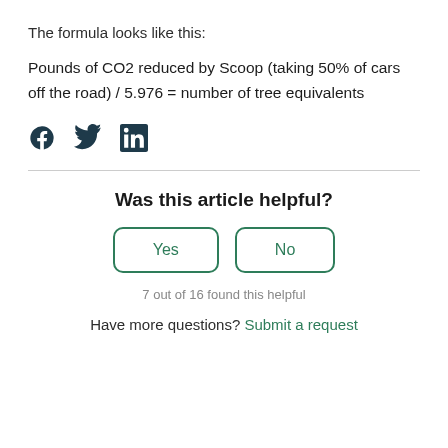The formula looks like this:
Pounds of CO2 reduced by Scoop (taking 50% of cars off the road) / 5.976 = number of tree equivalents
[Figure (infographic): Social share icons: Facebook, Twitter, LinkedIn]
Was this article helpful?
Yes | No (buttons)
7 out of 16 found this helpful
Have more questions? Submit a request